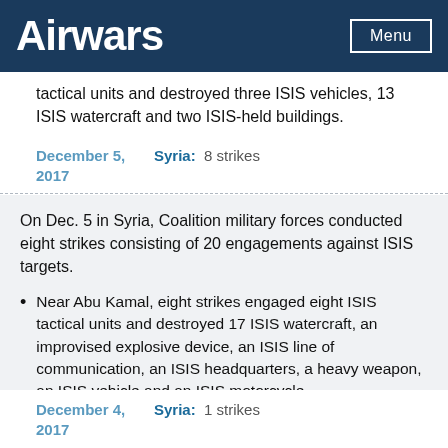Airwars  Menu
tactical units and destroyed three ISIS vehicles, 13 ISIS watercraft and two ISIS-held buildings.
December 5, 2017   Syria: 8 strikes
On Dec. 5 in Syria, Coalition military forces conducted eight strikes consisting of 20 engagements against ISIS targets.
Near Abu Kamal, eight strikes engaged eight ISIS tactical units and destroyed 17 ISIS watercraft, an improvised explosive device, an ISIS line of communication, an ISIS headquarters, a heavy weapon, an ISIS vehicle and an ISIS motorcycle.
December 4, 2017   Syria: 1 strikes